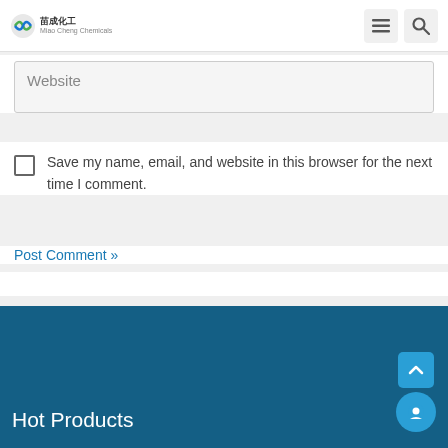Miaochi Chemical logo and navigation
Website
Save my name, email, and website in this browser for the next time I comment.
Post Comment »
Hot Products